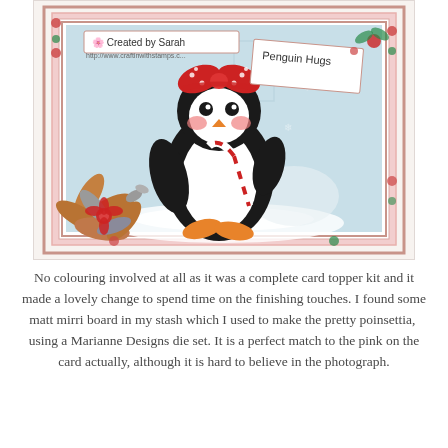[Figure (photo): A handmade Christmas card featuring a cute penguin character wearing a red polka-dot bow, holding a candy cane, set against a light blue background with Christmas decorations. The card has pink and rose gold borders with poinsettia embellishments made from matt mirri board and metallic leaves in the lower left corner. The card is labeled 'Created by Sarah' and 'Penguin Hugs'.]
No colouring involved at all as it was a complete card topper kit and it made a lovely change to spend time on the finishing touches. I found some matt mirri board in my stash which I used to make the pretty poinsettia,  using a Marianne Designs die set. It is a perfect match to the pink on the card actually, although it is hard to believe in the photograph.